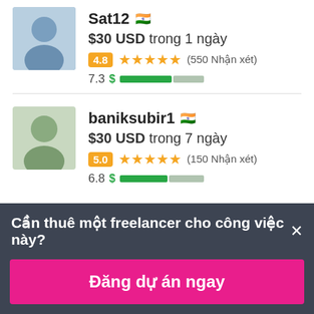Sat12 🇮🇳 $30 USD trong 1 ngày 4.8 ★★★★★ (550 Nhận xét) 7.3 $ [progress bar]
baniksubir1 🇮🇳 $30 USD trong 7 ngày 5.0 ★★★★★ (150 Nhận xét) 6.8 $ [progress bar]
Cần thuê một freelancer cho công việc này? ×
Đăng dự án ngay